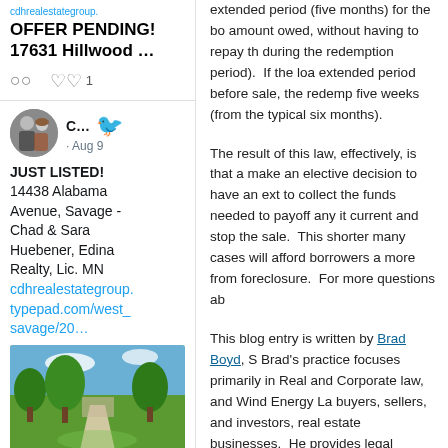OFFER PENDING!
17631 Hillwood …
○  ♡ 1
[Figure (photo): Profile photo of couple (man and woman) used as Twitter avatar]
C… · Aug 9
JUST LISTED! 14438 Alabama Avenue, Savage - Chad & Sara Huebener, Edina Realty, Lic. MN cdhrealestategroup.typepad.com/west_savage/20…
[Figure (photo): Outdoor photo of residential property with trees and grass lawn]
extended period (five months) for the bo amount owed, without having to repay th during the redemption period). If the loa extended period before sale, the redemp five weeks (from the typical six months).
The result of this law, effectively, is that a make an elective decision to have an ext to collect the funds needed to payoff any it current and stop the sale. This shorter many cases will afford borrowers a more from foreclosure. For more questions ab
This blog entry is written by Brad Boyd, S Brad's practice focuses primarily in Real and Corporate law, and Wind Energy La buyers, sellers, and investors, real estate businesses. He provides legal advice, g risk management in a wide variety of rea
Comments (0) | TrackBack (0)